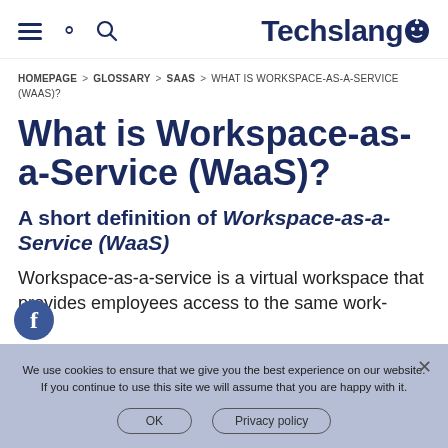Techslang
HOMEPAGE > GLOSSARY > SAAS > WHAT IS WORKSPACE-AS-A-SERVICE (WAAS)?
What is Workspace-as-a-Service (WaaS)?
A short definition of Workspace-as-a-Service (WaaS)
Workspace-as-a-service is a virtual workspace that provides employees access to the same work-
We use cookies to ensure that we give you the best experience on our website. If you continue to use this site we will assume that you are happy with it.